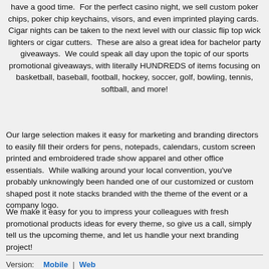have a good time.  For the perfect casino night, we sell custom poker chips, poker chip keychains, visors, and even imprinted playing cards.  Cigar nights can be taken to the next level with our classic flip top wick lighters or cigar cutters.  These are also a great idea for bachelor party giveaways.  We could speak all day upon the topic of our sports promotional giveaways, with literally HUNDREDS of items focusing on basketball, baseball, football, hockey, soccer, golf, bowling, tennis, softball, and more!
Our large selection makes it easy for marketing and branding directors to easily fill their orders for pens, notepads, calendars, custom screen printed and embroidered trade show apparel and other office essentials.  While walking around your local convention, you've probably unknowingly been handed one of our customized or custom shaped post it note stacks branded with the theme of the event or a company logo.
We make it easy for you to impress your colleagues with fresh promotional products ideas for every theme, so give us a call, simply tell us the upcoming theme, and let us handle your next branding project!
Version:  Mobile  |  Web